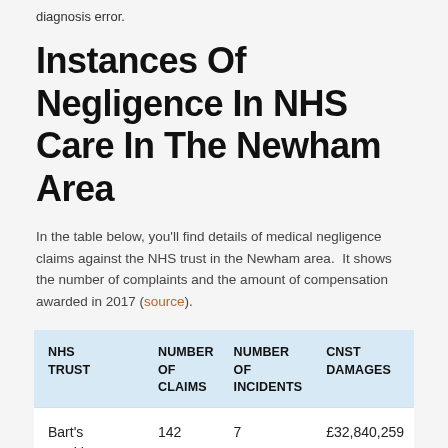diagnosis error.
Instances Of Negligence In NHS Care In The Newham Area
In the table below, you'll find details of medical negligence claims against the NHS trust in the Newham area.  It shows the number of complaints and the amount of compensation awarded in 2017 (source).
| NHS TRUST | NUMBER OF CLAIMS | NUMBER OF INCIDENTS | CNST DAMAGES |
| --- | --- | --- | --- |
| Bart's Health | 142 | 7 | £32,840,259 |